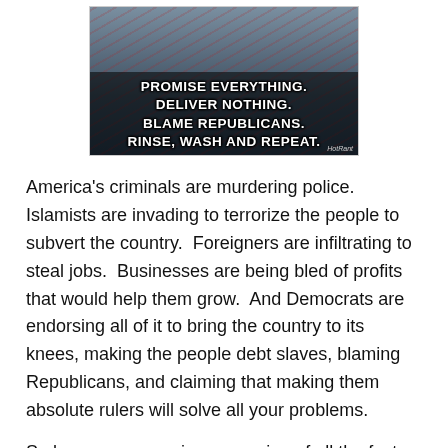[Figure (photo): A meme image showing a crowd of people waving American flags with overlaid bold white text reading: PROMISE EVERYTHING. DELIVER NOTHING. BLAME REPUBLICANS. RINSE, WASH AND REPEAT. Attribution: HotHunt]
America's criminals are murdering police.  Islamists are invading to terrorize the people to subvert the country.  Foreigners are infiltrating to steal jobs.  Businesses are being bled of profits that would help them grow.  And Democrats are endorsing all of it to bring the country to its knees, making the people debt slaves, blaming Republicans, and claiming that making them absolute rulers will solve all your problems.
So long as you are in possession of all the facts you can refute the illogical nonsense of their beliefs.  Whenever